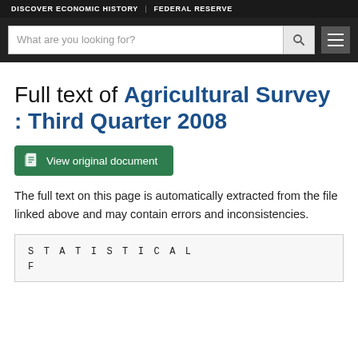DISCOVER ECONOMIC HISTORY | FEDERAL RESERVE
Full text of Agricultural Survey : Third Quarter 2008
View original document
The full text on this page is automatically extracted from the file linked above and may contain errors and inconsistencies.
S T A T I S T I C A L
F